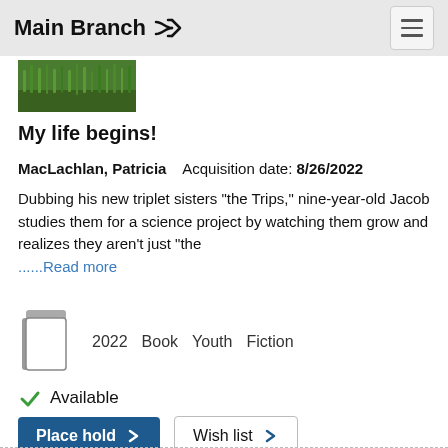Main Branch
[Figure (photo): Partial book cover thumbnail showing green grass]
My life begins!
MacLachlan, Patricia   Acquisition date: 8/26/2022 Dubbing his new triplet sisters "the Trips," nine-year-old Jacob studies them for a science project by watching them grow and realizes they aren't just "the ......Read more
2022   Book   Youth   Fiction
Available
Place hold   Wish list